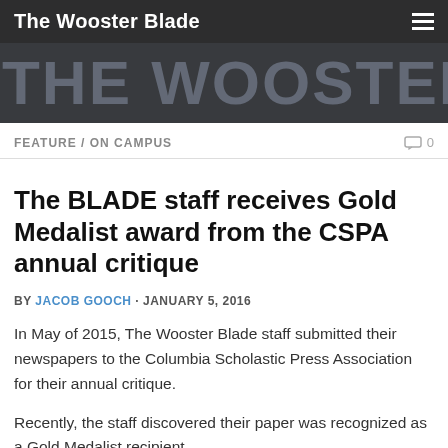The Wooster Blade
[Figure (other): The Wooster Blade banner logo with large text on dark background]
FEATURE / ON CAMPUS
The BLADE staff receives Gold Medalist award from the CSPA annual critique
BY JACOB GOOCH · JANUARY 5, 2016
In May of 2015, The Wooster Blade staff submitted their newspapers to the Columbia Scholastic Press Association for their annual critique.
Recently, the staff discovered their paper was recognized as a Gold Medalist recipient.